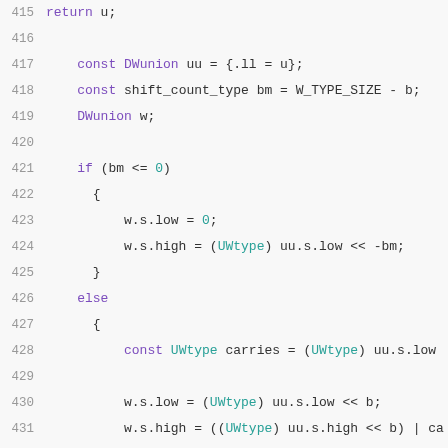Code listing lines 415-435: C code snippet showing DWunion shift operation with UWtype carries
415    return u;
416    (blank)
417    const DWunion uu = {.ll = u};
418    const shift_count_type bm = W_TYPE_SIZE - b;
419    DWunion w;
420    (blank)
421    if (bm <= 0)
422    {
423        w.s.low = 0;
424        w.s.high = (UWtype) uu.s.low << -bm;
425    }
426    else
427    {
428        const UWtype carries = (UWtype) uu.s.low
429    (blank)
430        w.s.low = (UWtype) uu.s.low << b;
431        w.s.high = ((UWtype) uu.s.high << b) | ca
432    }
433    (blank)
434    return w.ll;
435  }